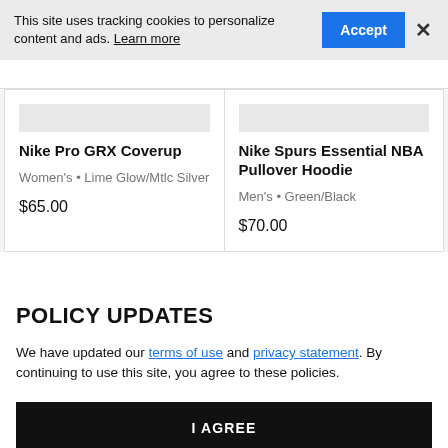This site uses tracking cookies to personalize content and ads. Learn more
Accept
×
Nike Pro GRX Coverup
Women's • Lime Glow/Mtlc Silver
$65.00
Nike Spurs Essential NBA Pullover Hoodie
Men's • Green/Black
$70.00
POLICY UPDATES
We have updated our terms of use and privacy statement. By continuing to use this site, you agree to these policies.
I AGREE